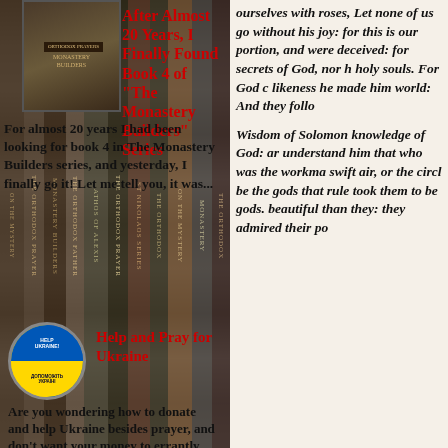[Figure (photo): Thumbnail of book spines background with overlaid book cover image]
After Almost 20 Years, I Finally Found Book 4 of "The Monastery Builders" Series
For almost 20 years I had been looking for book 4 in The Monastery Builders series, and yesterday, I finally go it! Let me tell you, it was...
[Figure (logo): Circular badge with blue top half reading HELP UKRAINE! and yellow bottom half reading ДОПОМОЖІТЬ УКРАЇНІ]
Help and Pray for Ukraine
Are you wondering how to donate and help Ukraine besides prayer, and don't want your money to errantly end up
ourselves with roses, Let none of us go without his share in our joy: for this is our portion, and were deceived: for their own wickedness hath blinded them. As for the secrets of God, nor hoped for the wages of righteousness, nor discerned a reward for blameless holy souls. For God created man to be immortal, and made him to be an image of his own eternity. Nevertheless through envy of the devil came death into the world: And they follow on his side that do belong unto him.
Wisdom of Solomon knowledge of God: and who was the workman; neither by considering the swift air, or the circle of the stars, or the violent water...be the gods that rule the world: took them to be gods. beautiful than they: they admired their po